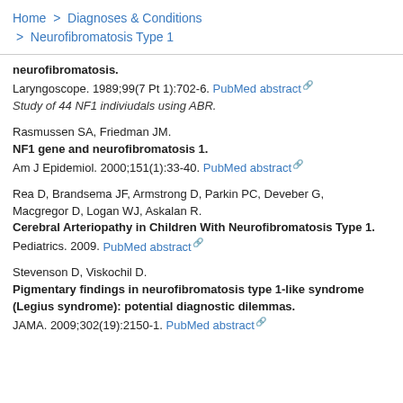Home > Diagnoses & Conditions > Neurofibromatosis Type 1
neurofibromatosis. Laryngoscope. 1989;99(7 Pt 1):702-6. PubMed abstract — Study of 44 NF1 indiviudals using ABR.
Rasmussen SA, Friedman JM. NF1 gene and neurofibromatosis 1. Am J Epidemiol. 2000;151(1):33-40. PubMed abstract
Rea D, Brandsema JF, Armstrong D, Parkin PC, Deveber G, Macgregor D, Logan WJ, Askalan R. Cerebral Arteriopathy in Children With Neurofibromatosis Type 1. Pediatrics. 2009. PubMed abstract
Stevenson D, Viskochil D. Pigmentary findings in neurofibromatosis type 1-like syndrome (Legius syndrome): potential diagnostic dilemmas. JAMA. 2009;302(19):2150-1. PubMed abstract